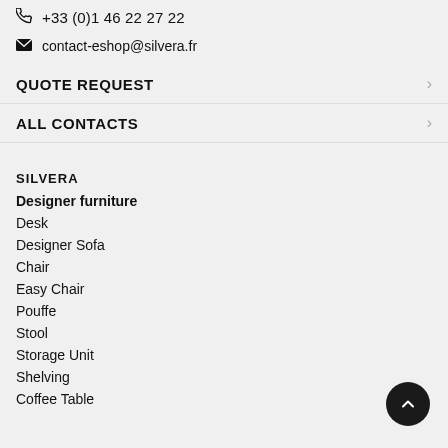+33 (0)1 46 22 27 22
contact-eshop@silvera.fr
QUOTE REQUEST
ALL CONTACTS
SILVERA
Designer furniture
Desk
Designer Sofa
Chair
Easy Chair
Pouffe
Stool
Storage Unit
Shelving
Coffee Table